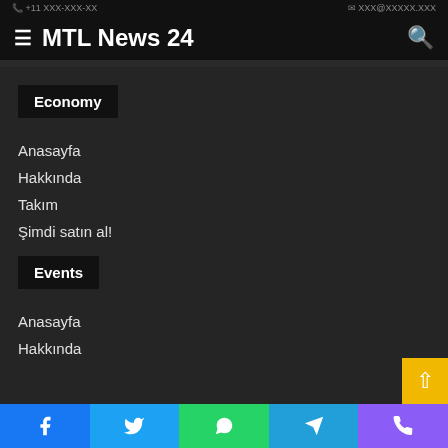MTL News 24
Economy
Anasayfa
Hakkında
Takım
Şimdi satın al!
Events
Anasayfa
Hakkında